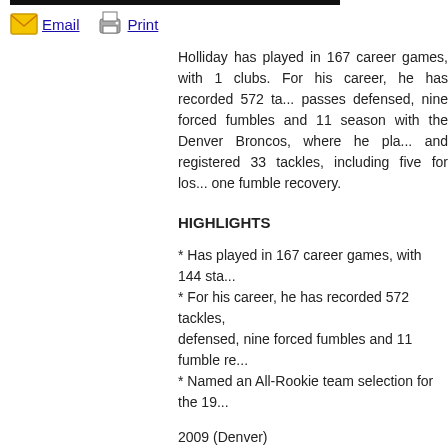Email  Print
Holliday has played in 167 career games, with 1... clubs. For his career, he has recorded 572 ta... passes defensed, nine forced fumbles and 11 ... season with the Denver Broncos, where he pla... and registered 33 tackles, including five for los... one fumble recovery.
HIGHLIGHTS
* Has played in 167 career games, with 144 sta...
* For his career, he has recorded 572 tackles, ... defensed, nine forced fumbles and 11 fumble re...
* Named an All-Rookie team selection for the 19...
2009 (Denver)
* Played and started in all 16 regular season ga...
* Totaled 33 tackles and five sacks.
* Also recorded two forced fumbles and one fum...
2008 (Miami)
* Played in all 16 regular season games with 15...